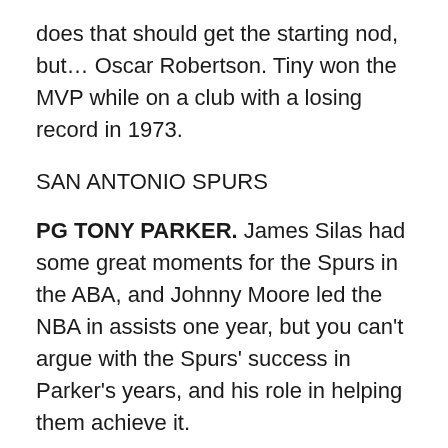does that should get the starting nod, but… Oscar Robertson. Tiny won the MVP while on a club with a losing record in 1973.
SAN ANTONIO SPURS
PG TONY PARKER. James Silas had some great moments for the Spurs in the ABA, and Johnny Moore led the NBA in assists one year, but you can't argue with the Spurs' success in Parker's years, and his role in helping them achieve it.
SG GEORGE GERVIN. One of the coolest super-scorers and coolest personalities in NBA history, the Iceman was more than just the finger roll. He had almost unlimited range on his jumpshot and a knack for drawing fouls. If you played the Spurs during Gervin's tenure, he was always Problem One.